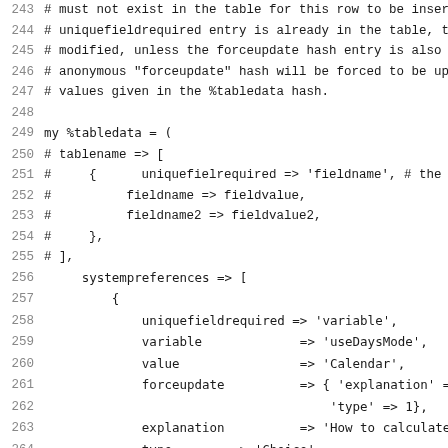Code listing lines 243-274 showing Perl hash structure for database table data with systempreferences entries